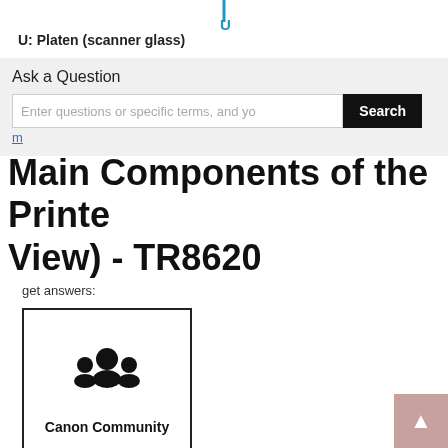[Figure (illustration): Diagram label 'U' in teal/cyan pointing to the Platen (scanner glass) component of the printer, shown at the top of the page]
U: Platen (scanner glass)
[Figure (screenshot): Ask a Question search box UI widget with text input and Search button]
Main Components of the Printer (Top View) - TR8620
get answers:
[Figure (illustration): Canon Community card with group/community icon and text 'Canon Community']